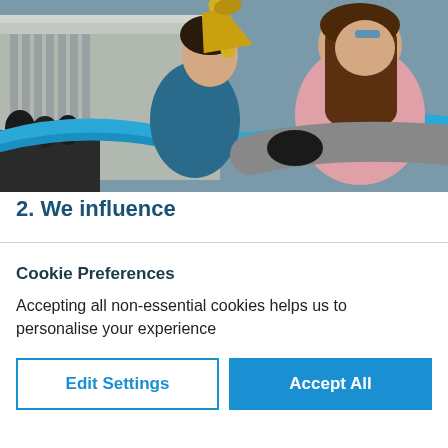[Figure (photo): Two young women at a protest or rally, one holding a megaphone with a yellow handle and wearing a blue sleeveless top, the other wearing a pink shirt. A blue ribbon/banner is visible in the foreground. A classical building is in the background.]
2. We influence
Cookie Preferences
Accepting all non-essential cookies helps us to personalise your experience
Edit Settings
Accept All